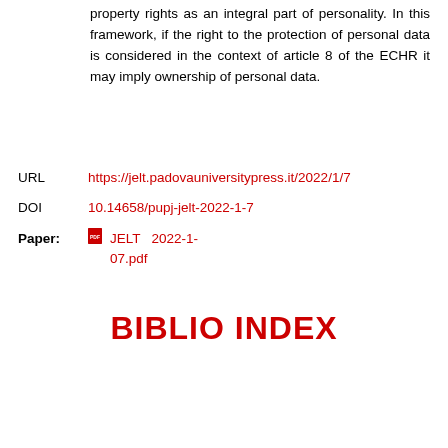property rights as an integral part of personality. In this framework, if the right to the protection of personal data is considered in the context of article 8 of the ECHR it may imply ownership of personal data.
URL	https://jelt.padovauniversitypress.it/2022/1/7
DOI	10.14658/pupj-jelt-2022-1-7
Paper: [icon] JELT 2022-1-07.pdf
BIBLIO INDEX